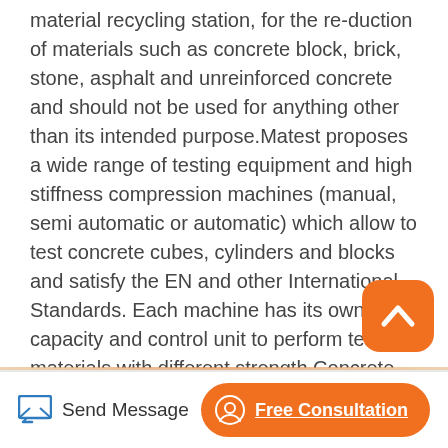material recycling station, for the re-duction of materials such as concrete block, brick, stone, asphalt and unreinforced concrete and should not be used for anything other than its intended purpose.Matest proposes a wide range of testing equipment and high stiffness compression machines (manual, semi automatic or automatic) which allow to test concrete cubes, cylinders and blocks and satisfy the EN and other International Standards. Each machine has its own kN capacity and control unit to perform tests on materials with different strength.Concrete Pulverizers are available in sizes for base machines ranging from 25,000 to
Send Message | Free Consultation